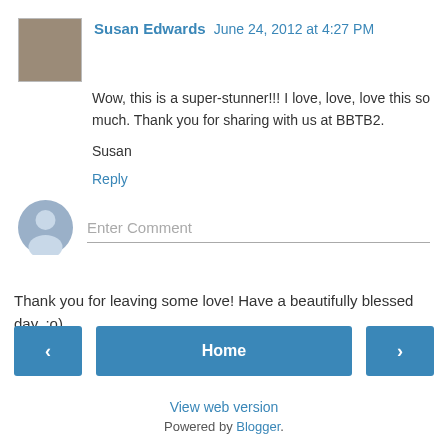Susan Edwards  June 24, 2012 at 4:27 PM
Wow, this is a super-stunner!!! I love, love, love this so much. Thank you for sharing with us at BBTB2.

Susan
Reply
Enter Comment
Thank you for leaving some love! Have a beautifully blessed day. :o)
‹  Home  ›
View web version
Powered by Blogger.